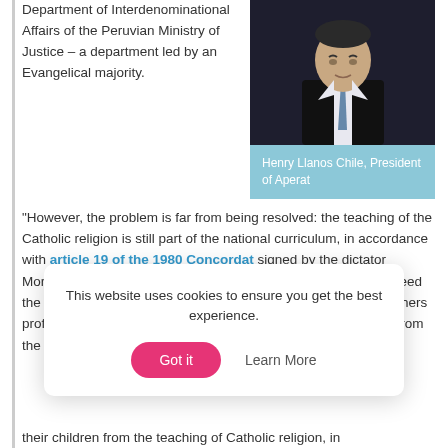Department of Interdenominational Affairs of the Peruvian Ministry of Justice – a department led by an Evangelical majority.
[Figure (photo): Portrait photo of Henry Llanos Chile, President of Aperat, wearing a dark suit and blue tie]
Henry Llanos Chile, President of Aperat
“However, the problem is far from being resolved: the teaching of the Catholic religion is still part of the national curriculum, in accordance with article 19 of the 1980 Concordat signed by the dictator Morales-Bermúdez with the Vatican; teachers of religion don't need the professional pedagogy diploma, as required instead to all others professors; and often, when parents want to opt-out their sons from the religious teaching, schools interpose
This website uses cookies to ensure you get the best experience.
their children from the teaching of Catholic religion, in